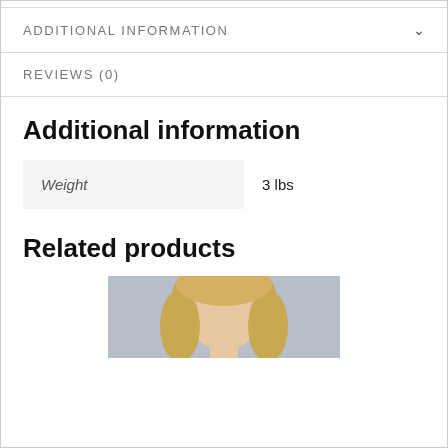ADDITIONAL INFORMATION
REVIEWS (0)
Additional information
| Weight | 3 lbs |
Related products
[Figure (photo): Photo of a blonde woman, cropped at the top of a product listing for related products section]